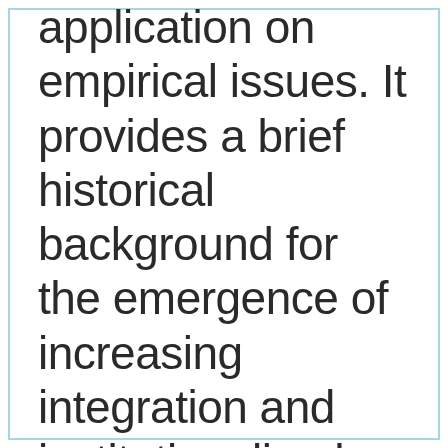application on empirical issues. It provides a brief historical background for the emergence of increasing integration and institutionalized